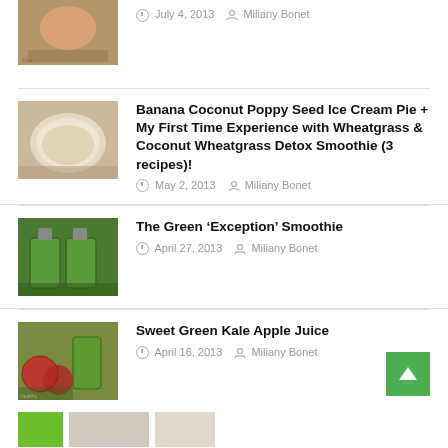[Figure (photo): Food/drink thumbnail image - pink/orange liquid in glass, partial view at top]
July 4, 2013  Miliany Bonet
[Figure (photo): Banana Coconut Poppy Seed Ice Cream Pie thumbnail - pie in dish]
Banana Coconut Poppy Seed Ice Cream Pie + My First Time Experience with Wheatgrass & Coconut Wheatgrass Detox Smoothie (3 recipes)!
May 2, 2013  Miliany Bonet
[Figure (photo): Green smoothie jars thumbnail]
The Green ‘Exception’ Smoothie
April 27, 2013  Miliany Bonet
[Figure (photo): Sweet Green Kale Apple Juice thumbnail - green juice with apples]
Sweet Green Kale Apple Juice
April 16, 2013  Miliany Bonet